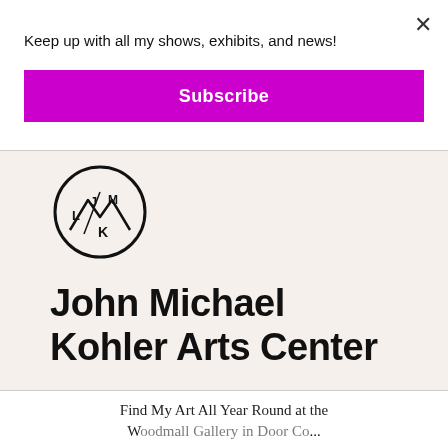Keep up with all my shows, exhibits, and news!
Subscribe
[Figure (logo): John Michael Kohler Arts Center circular logo with letters L, J, M, K arranged in a circle with mountain/arrow motifs]
John Michael Kohler Arts Center
Find My Art All Year Round at the Woodmall Gallery in Door County